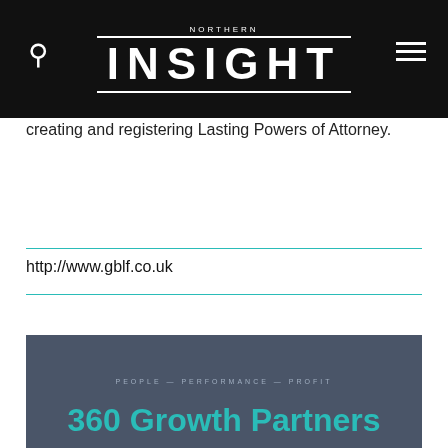NORTHERN INSIGHT
creating and registering Lasting Powers of Attorney.
http://www.gblf.co.uk
[Figure (other): 360 Growth Partners advertisement banner with tagline PEOPLE — PERFORMANCE — PROFIT on dark grey background]